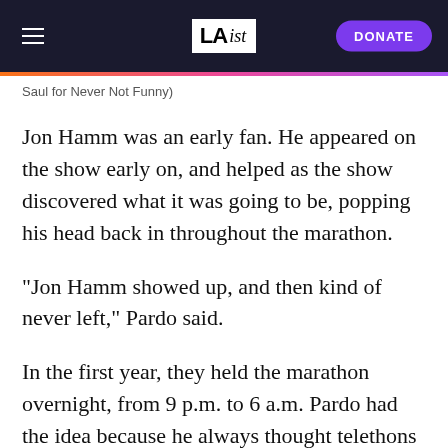LAist | DONATE
Saul for Never Not Funny)
Jon Hamm was an early fan. He appeared on the show early on, and helped as the show discovered what it was going to be, popping his head back in throughout the marathon.
"Jon Hamm showed up, and then kind of never left," Pardo said.
In the first year, they held the marathon overnight, from 9 p.m. to 6 a.m. Pardo had the idea because he always thought telethons were the most fun in the